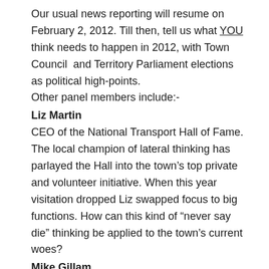Our usual news reporting will resume on February 2, 2012. Till then, tell us what YOU think needs to happen in 2012, with Town Council  and Territory Parliament elections as political high-points.
Other panel members include:-
Liz Martin
CEO of the National Transport Hall of Fame.
The local champion of lateral thinking has parlayed the Hall into the town's top private and volunteer initiative. When this year visitation dropped Liz swapped focus to big functions. How can this kind of “never say die” thinking be applied to the town's current woes?
Mike Gillam
Photographer, environmental campaigner.
Why looking after our natural heritage and assets is good for our community and good for business. And how we can do it better.